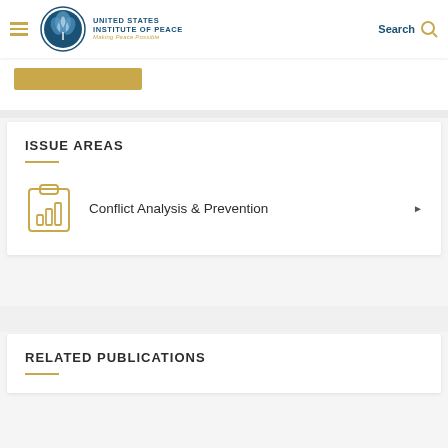United States Institute of Peace — Making Peace Possible
ISSUE AREAS
Conflict Analysis & Prevention
RELATED PUBLICATIONS